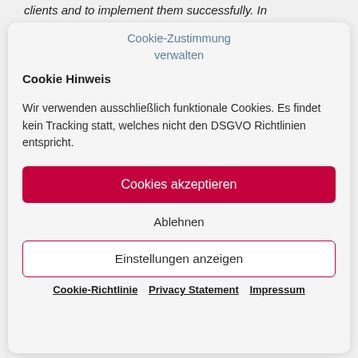clients and to implement them successfully. In
Cookie-Zustimmung verwalten
Cookie Hinweis
Wir verwenden ausschließlich funktionale Cookies. Es findet kein Tracking statt, welches nicht den DSGVO Richtlinien entspricht.
Cookies akzeptieren
Ablehnen
Einstellungen anzeigen
Cookie-Richtlinie  Privacy Statement  Impressum